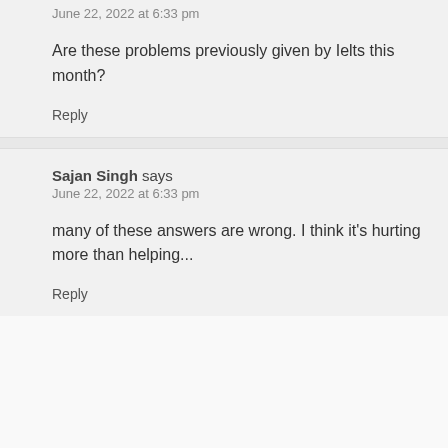June 22, 2022 at 6:33 pm
Are these problems previously given by Ielts this month?
Reply
Sajan Singh says
June 22, 2022 at 6:33 pm
many of these answers are wrong. I think it's hurting more than helping...
Reply